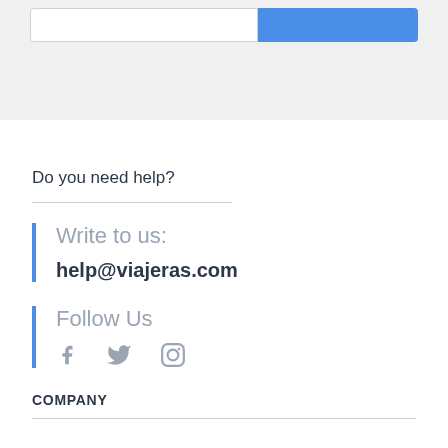[Figure (screenshot): Top navigation/search bar area with a white input field and a blue button, on a light gray background]
Do you need help?
Write to us:
help@viajeras.com
Follow Us
[Figure (illustration): Social media icons: Facebook, Twitter, Instagram]
COMPANY